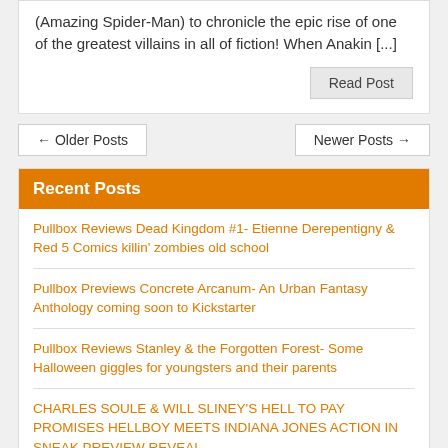(Amazing Spider-Man) to chronicle the epic rise of one of the greatest villains in all of fiction! When Anakin [...]
Read Post
← Older Posts
Newer Posts →
Recent Posts
Pullbox Reviews Dead Kingdom #1- Etienne Derepentigny & Red 5 Comics killin' zombies old school
Pullbox Previews Concrete Arcanum- An Urban Fantasy Anthology coming soon to Kickstarter
Pullbox Reviews Stanley & the Forgotten Forest- Some Halloween giggles for youngsters and their parents
CHARLES SOULE & WILL SLINEY'S HELL TO PAY PROMISES HELLBOY MEETS INDIANA JONES ACTION IN SNEAK PREVIEW REVEAL
Pullbox Previews Upcoming Archie Comics